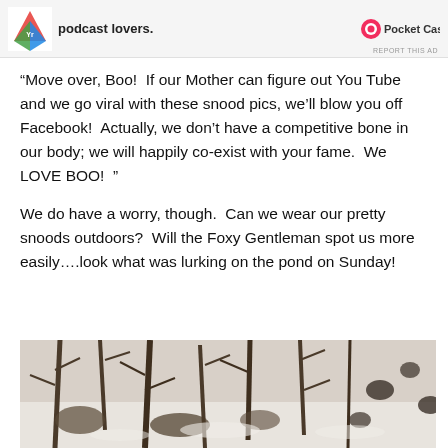[Figure (other): Advertisement banner with colorful logo on the left, text 'podcast lovers.' in bold, and Pocket Casts logo on the right. 'REPORT THIS AD' text at bottom right.]
“Move over, Boo!  If our Mother can figure out You Tube and we go viral with these snood pics, we’ll blow you off Facebook!  Actually, we don’t have a competitive bone in our body; we will happily co-exist with your fame.  We LOVE BOO!  ”
We do have a worry, though.  Can we wear our pretty snoods outdoors?  Will the Foxy Gentleman spot us more easily….look what was lurking on the pond on Sunday!
[Figure (photo): Winter outdoor scene showing bare trees and branches covered in snow near a frozen pond, with dark duck or bird shapes visible among the snow and brush.]